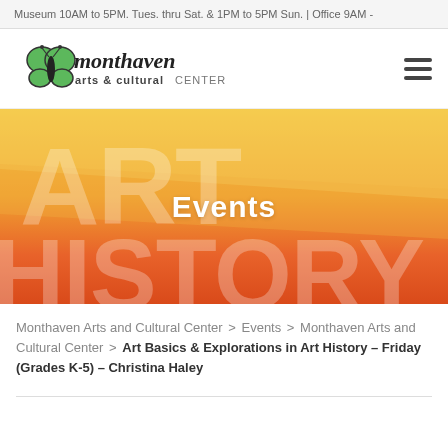Museum 10AM to 5PM. Tues. thru Sat. & 1PM to 5PM Sun. | Office 9AM -
[Figure (logo): Monthaven Arts & Cultural Center logo with green butterfly and stylized text]
[Figure (infographic): Art History banner image with diagonal orange/red gradient stripes and large white semi-transparent text reading 'ART HISTORY' with 'Events' label overlay in white bold text]
Monthaven Arts and Cultural Center > Events > Monthaven Arts and Cultural Center > Art Basics & Explorations in Art History – Friday (Grades K-5) – Christina Haley